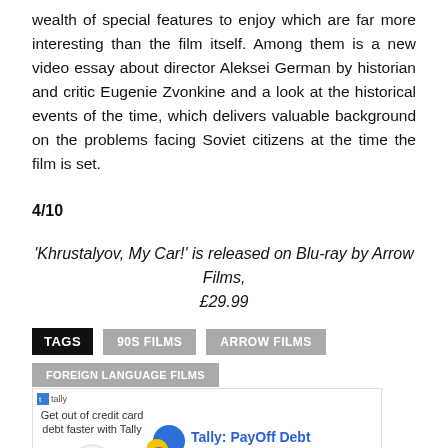wealth of special features to enjoy which are far more interesting than the film itself. Among them is a new video essay about director Aleksei German by historian and critic Eugenie Zvonkine and a look at the historical events of the time, which delivers valuable background on the problems facing Soviet citizens at the time the film is set.
4/10
'Khrustalyov, My Car!' is released on Blu-ray by Arrow Films, £29.99
TAGS   90S FILMS   ARROW FILMS   FOREIGN LANGUAGE FILMS
[Figure (other): Advertisement for Tally: PayOff Debt Faster app, showing app icon and text 'Get out of credit card debt faster with Tally']
Ad